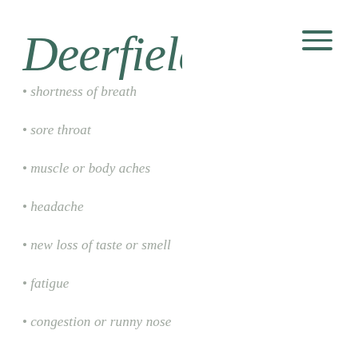Deerfield
shortness of breath
sore throat
muscle or body aches
headache
new loss of taste or smell
fatigue
congestion or runny nose